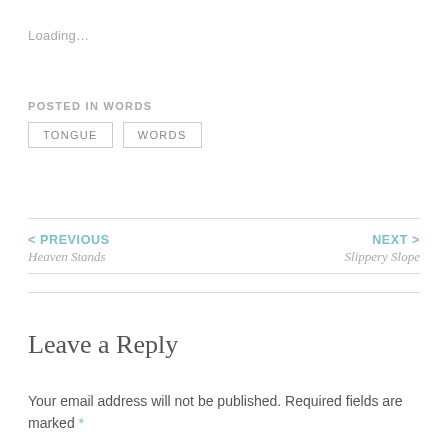Loading…
POSTED IN WORDS
TONGUE
WORDS
< PREVIOUS
Heaven Stands
NEXT >
Slippery Slope
Leave a Reply
Your email address will not be published. Required fields are marked *